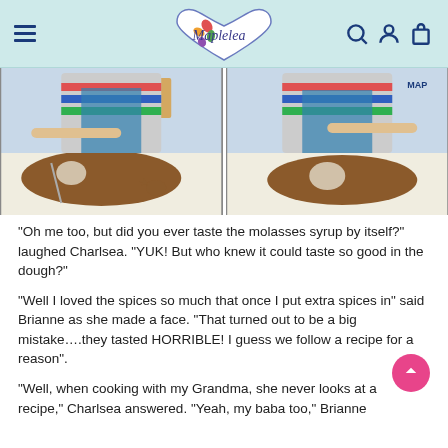Maplelea
[Figure (photo): Two side-by-side photos of dolls rolling gingerbread cookie dough with cookie cutters on a white table, with star-shaped and bear-shaped cookie cutters visible.]
“Oh me too, but did you ever taste the molasses syrup by itself?”  laughed Charlsea.  “YUK!  But who knew it could taste so good in the dough?”
“Well I loved the spices so much that once I put extra spices in” said Brianne as she made a face.  “That turned out to be a big mistake….they tasted HORRIBLE!  I guess we follow a recipe for a reason”.
“Well, when cooking with my Grandma, she never looks at a recipe,” Charlsea answered.  “Yeah, my baba too,” Brianne